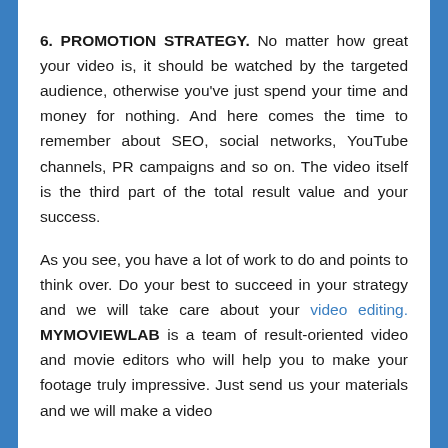6. PROMOTION STRATEGY. No matter how great your video is, it should be watched by the targeted audience, otherwise you've just spend your time and money for nothing. And here comes the time to remember about SEO, social networks, YouTube channels, PR campaigns and so on. The video itself is the third part of the total result value and your success.
As you see, you have a lot of work to do and points to think over. Do your best to succeed in your strategy and we will take care about your video editing. MYMOVIEWLAB is a team of result-oriented video and movie editors who will help you to make your footage truly impressive. Just send us your materials and we will make a video